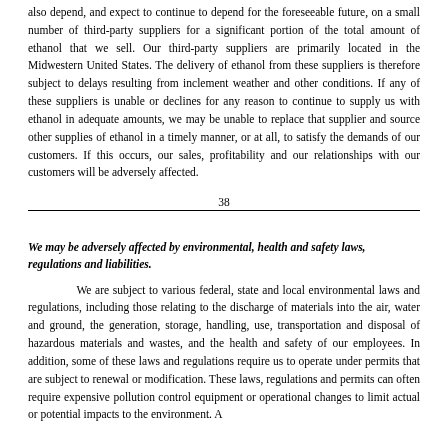also depend, and expect to continue to depend for the foreseeable future, on a small number of third-party suppliers for a significant portion of the total amount of ethanol that we sell. Our third-party suppliers are primarily located in the Midwestern United States. The delivery of ethanol from these suppliers is therefore subject to delays resulting from inclement weather and other conditions. If any of these suppliers is unable or declines for any reason to continue to supply us with ethanol in adequate amounts, we may be unable to replace that supplier and source other supplies of ethanol in a timely manner, or at all, to satisfy the demands of our customers. If this occurs, our sales, profitability and our relationships with our customers will be adversely affected.
38
We may be adversely affected by environmental, health and safety laws, regulations and liabilities.
We are subject to various federal, state and local environmental laws and regulations, including those relating to the discharge of materials into the air, water and ground, the generation, storage, handling, use, transportation and disposal of hazardous materials and wastes, and the health and safety of our employees. In addition, some of these laws and regulations require us to operate under permits that are subject to renewal or modification. These laws, regulations and permits can often require expensive pollution control equipment or operational changes to limit actual or potential impacts to the environment. A